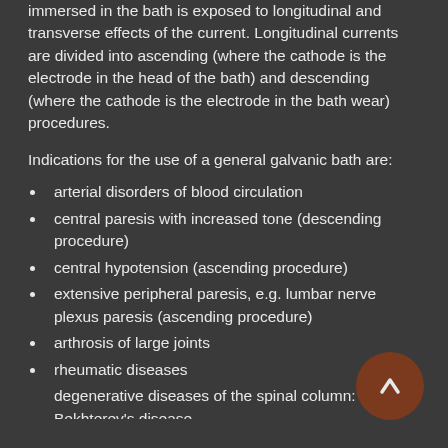immersed in the bath is exposed to longitudinal and transverse effects of the current. Longitudinal currents are divided into ascending (where the cathode is the electrode in the head of the bath) and descending (where the cathode is the electrode in the bath wear) procedures.
Indications for the use of a general galvanic bath are:
arterial disorders of blood circulation
central paresis with increased tone (descending procedure)
central hypotension (ascending procedure)
extensive peripheral paresis, e.g. lumbar nerve plexus paresis (ascending procedure)
arthrosis of large joints
rheumatic diseases
degenerative diseases of the spinal column: Bekhterev's disease